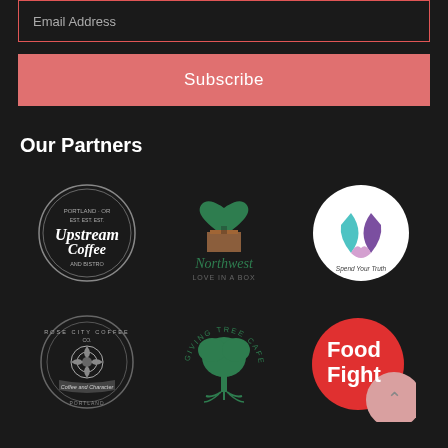Email Address
Subscribe
Our Partners
[Figure (logo): Upstream Coffee circular logo, Portland OR, white on dark background]
[Figure (logo): Northwest Love In A Box logo, green tree heart with brown box base]
[Figure (logo): Spend Your Truth circular logo, teal and purple ribbon on white circle]
[Figure (logo): Rose City Coffee Co circular logo, monochrome dark]
[Figure (logo): Giving Tree Cafe circular logo, green tree illustration]
[Figure (logo): Food Fight logo, red circle with white bold text, pink partial circle beside]